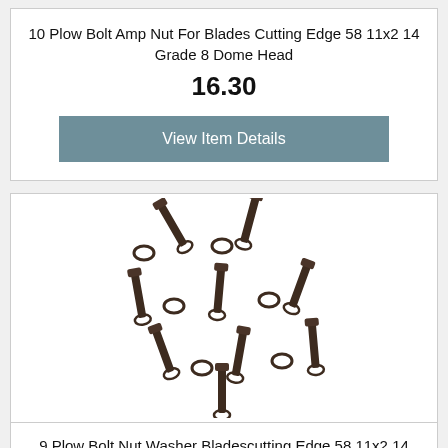10 Plow Bolt Amp Nut For Blades Cutting Edge 58 11x2 14 Grade 8 Dome Head
16.30
View Item Details
[Figure (photo): Photo of plow bolts and nuts with washers, dark brown/black hardware pieces arranged in a scattered pattern]
9 Plow Bolt Nut Washer Bladescutting Edge 58 11x2 14 Grade 8 Dome Head
21.51